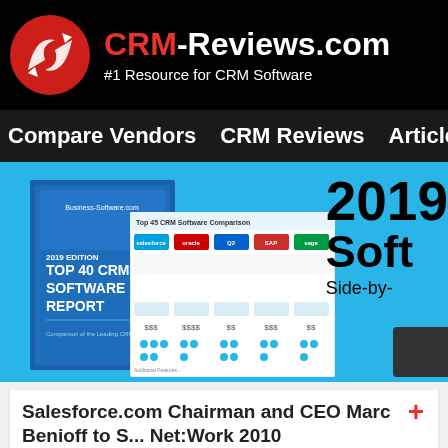CRM-Reviews.com — #1 Resource for CRM Software
[Figure (screenshot): Website navigation bar with links: Compare Vendors, CRM Reviews, Articles, Blog, Lat...]
[Figure (screenshot): Promotional banner showing 2019 Top 40 CRM Software Report book cover and comparison sheet on cyan background, with text '2019 Soft... Side-by-...']
Salesforce.com Chairman and CEO Marc Benioff to S... Net:Work 2010
Tweet   Share